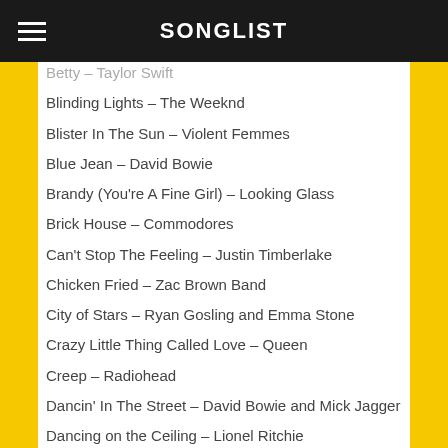SONGLIST
Betty – Taylor Swift
Blinding Lights – The Weeknd
Blister In The Sun – Violent Femmes
Blue Jean – David Bowie
Brandy (You're A Fine Girl) – Looking Glass
Brick House – Commodores
Can't Stop The Feeling – Justin Timberlake
Chicken Fried – Zac Brown Band
City of Stars – Ryan Gosling and Emma Stone
Crazy Little Thing Called Love – Queen
Creep – Radiohead
Dancin' In The Street – David Bowie and Mick Jagger
Dancing on the Ceiling – Lionel Ritchie
Dancing in the Dark – Bruce Springsteen
Doctor My Eyes – Jackson Browne
Don't Go Breakin' My Heart – Backstreet Boys
Don't Stop (Thinking About Tomorrow) – Fleetwood Mac
Don't Stop Believin' – Journey
Don't Worry, Be Happy – Bobby McFerrin